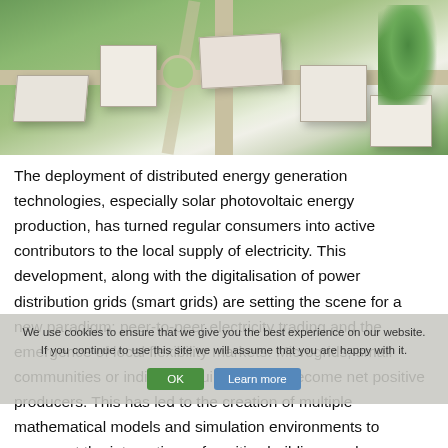[Figure (photo): Aerial/bird's-eye view rendering of a smart microgrid community with white buildings, green spaces, and roads in a campus-like layout]
The deployment of distributed energy generation technologies, especially solar photovoltaic energy production, has turned regular consumers into active contributors to the local supply of electricity. This development, along with the digitalisation of power distribution grids (smart grids) are setting the scene for a new paradigm: peer-to-peer electricity trading and the emergence of local flexibility markets. Microgrids, small communities or individual buildings can become net positive producers. This has led to the creation of multiple mathematical models and simulation environments to represent the interactions of positive buildings and distribution grids. In this regard, the Positive Cities and Distribution Grids (PCDG) model provides a user-friendly window to analyse the end-user benefits on engaging in peer-to-peer trade, the role of battery storage, allowing to showcase and quantify P2P trade benefits among
We use cookies to ensure that we give you the best experience on our website. If you continue to use this site we will assume that you are happy with it.